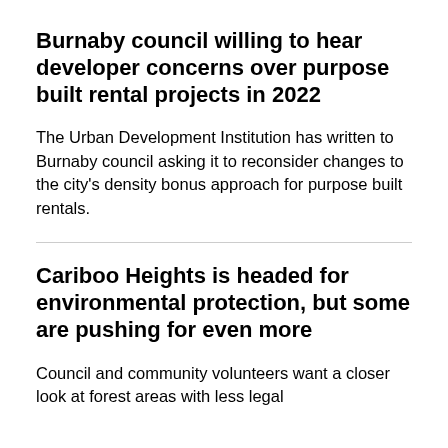Burnaby council willing to hear developer concerns over purpose built rental projects in 2022
The Urban Development Institution has written to Burnaby council asking it to reconsider changes to the city's density bonus approach for purpose built rentals.
Cariboo Heights is headed for environmental protection, but some are pushing for even more
Council and community volunteers want a closer look at forest areas with less legal